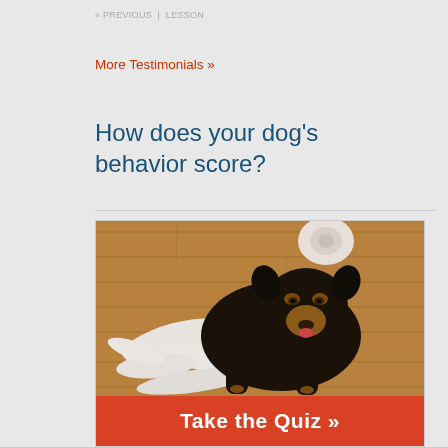« PREVIOUS  |  LESSON
More Testimonials »
How does your dog's behavior score?
[Figure (photo): A black and tan Doberman dog lying on a hardwood floor surrounded by shredded white toilet paper, looking at the camera with a guilty expression. Below the photo is a red button reading 'Take the Quiz »']
Take the Quiz »